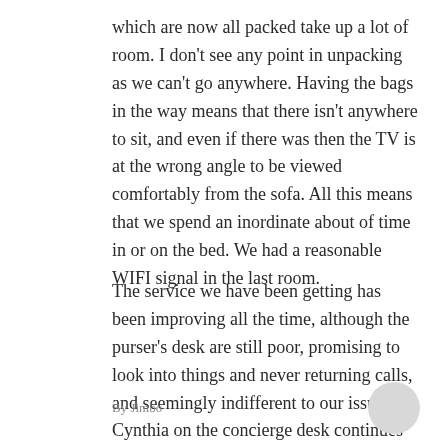which are now all packed take up a lot of room. I don't see any point in unpacking as we can't go anywhere. Having the bags in the way means that there isn't anywhere to sit, and even if there was then the TV is at the wrong angle to be viewed comfortably from the sofa. All this means that we spend an inordinate about of time in or on the bed. We had a reasonable WIFI signal in the last room.
The service we have been getting has been improving all the time, although the purser's desk are still poor, promising to look into things and never returning calls, and seemingly indifferent to our issues. Cynthia on the concierge desk continues to excel.
By Jimbo